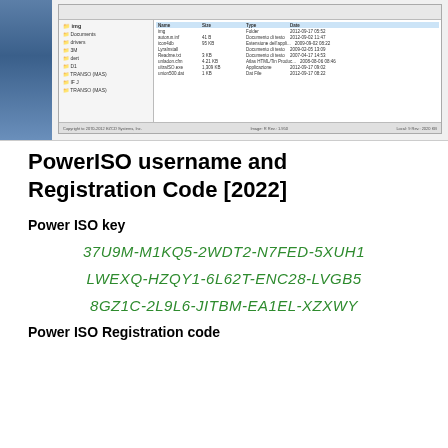[Figure (screenshot): Screenshot of a Windows file manager/FTP application showing a file listing with folders and files, including file sizes and dates. Blue sidebar panel on the left.]
PowerISO username and Registration Code [2022]
Power ISO key
37U9M-M1KQ5-2WDT2-N7FED-5XUH1
LWEXQ-HZQY1-6L62T-ENC28-LVGB5
8GZ1C-2L9L6-JITBM-EA1EL-XZXWY
Power ISO Registration code